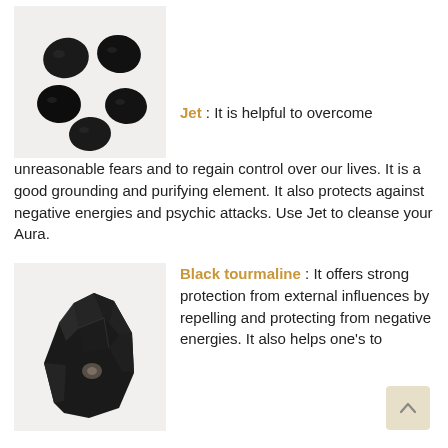[Figure (photo): Five small polished black jet stones arranged in a circular pattern on a light/white background]
Jet : It is helpful to overcome unreasonable fears and to regain control over our lives. It is a good grounding and purifying element. It also protects against negative energies and psychic attacks. Use Jet to cleanse your Aura.
[Figure (photo): A rough, jagged piece of black tourmaline crystal on a white background]
Black tourmaline : It offers strong protection from external influences by repelling and protecting from negative energies. It also helps one's to